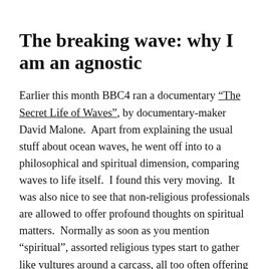The breaking wave: why I am an agnostic
Earlier this month BBC4 ran a documentary “The Secret Life of Waves”, by documentary-maker David Malone.  Apart from explaining the usual stuff about ocean waves, he went off into to a philosophical and spiritual dimension, comparing waves to life itself.  I found this very moving.  It was also nice to see that non-religious professionals are allowed to offer profound thoughts on spiritual matters.  Normally as soon as you mention “spiritual”, assorted religious types start to gather like vultures around a carcass, all too often offering no more than empty dogma.  Radio 4’s Thought for the Day doesn’t allow non-religious speakers.
When a wave breaks it disappears, but the water